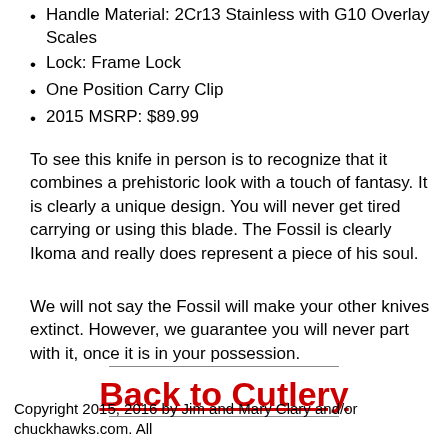Handle Material: 2Cr13 Stainless with G10 Overlay Scales
Lock: Frame Lock
One Position Carry Clip
2015 MSRP: $89.99
To see this knife in person is to recognize that it combines a prehistoric look with a touch of fantasy. It is clearly a unique design. You will never get tired carrying or using this blade. The Fossil is clearly Ikoma and really does represent a piece of his soul.
We will not say the Fossil will make your other knives extinct. However, we guarantee you will never part with it, once it is in your possession.
Back to Cutlery
Copyright 2015, 2016 by Jim and Mary Clary and/or chuckhawks.com. All